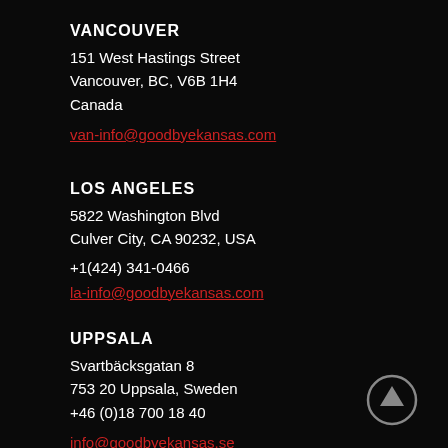VANCOUVER
151 West Hastings Street
Vancouver, BC, V6B 1H4
Canada
van-info@goodbyekansas.com
LOS ANGELES
5822 Washington Blvd
Culver City, CA 90232, USA
+1(424) 341-0466
la-info@goodbyekansas.com
UPPSALA
Svartbäcksgatan 8
753 20 Uppsala, Sweden
+46 (0)18 700 18 40
info@goodbyekansas.se